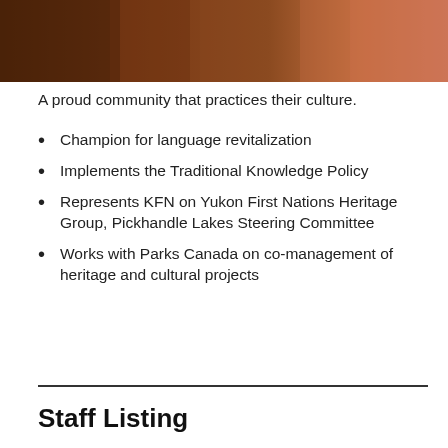[Figure (photo): Photo of hands or cultural items with wooden background, partially visible at top of page]
A proud community that practices their culture.
Champion for language revitalization
Implements the Traditional Knowledge Policy
Represents KFN on Yukon First Nations Heritage Group, Pickhandle Lakes Steering Committee
Works with Parks Canada on co-management of heritage and cultural projects
Staff Listing